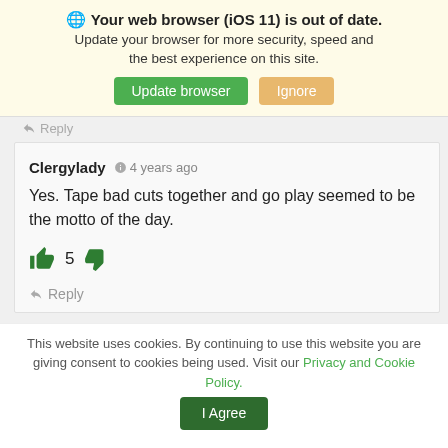🌐 Your web browser (iOS 11) is out of date. Update your browser for more security, speed and the best experience on this site. [Update browser] [Ignore]
Reply
Clergylady  4 years ago
Yes. Tape bad cuts together and go play seemed to be the motto of the day.
👍 5 👎
Reply
This website uses cookies. By continuing to use this website you are giving consent to cookies being used. Visit our Privacy and Cookie Policy. [I Agree]